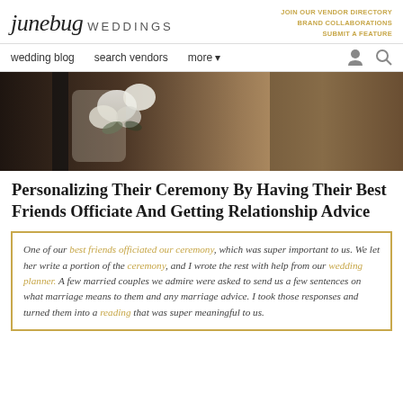junebug WEDDINGS | JOIN OUR VENDOR DIRECTORY BRAND COLLABORATIONS SUBMIT A FEATURE
wedding blog  search vendors  more
[Figure (photo): Close-up photo of a bride holding a white floral bouquet near a window, with warm brown tones in background]
Personalizing Their Ceremony By Having Their Best Friends Officiate And Getting Relationship Advice
One of our best friends officiated our ceremony, which was super important to us. We let her write a portion of the ceremony, and I wrote the rest with help from our wedding planner. A few married couples we admire were asked to send us a few sentences on what marriage means to them and any marriage advice. I took those responses and turned them into a reading that was super meaningful to us.